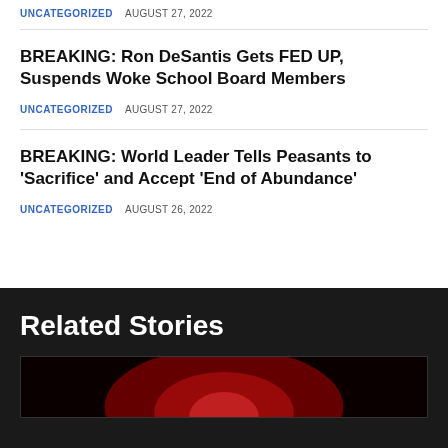UNCATEGORIZED   AUGUST 27, 2022
BREAKING: Ron DeSantis Gets FED UP, Suspends Woke School Board Members
UNCATEGORIZED   AUGUST 27, 2022
BREAKING: World Leader Tells Peasants to 'Sacrifice' and Accept 'End of Abundance'
UNCATEGORIZED   AUGUST 26, 2022
Related Stories
[Figure (photo): Dark thumbnail image with reddish glow, partially visible at bottom]